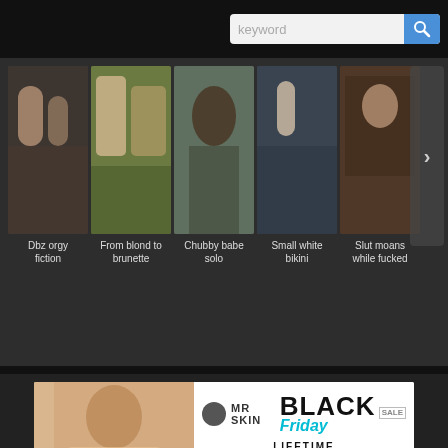[Figure (screenshot): Search bar with keyword placeholder and blue search icon button]
[Figure (screenshot): Horizontal thumbnail strip with 5 video thumbnails and captions: Dbz orgy fiction, From blond to brunette, Chubby babe solo, Small white bikini, Slut moans while fucked. Right arrow navigation button visible.]
[Figure (infographic): Mr Skin Black Friday Sale advertisement banner: LIFETIME MEMBERSHIP $99]
Monster size tits
[Figure (screenshot): White content area below section header, partially visible]